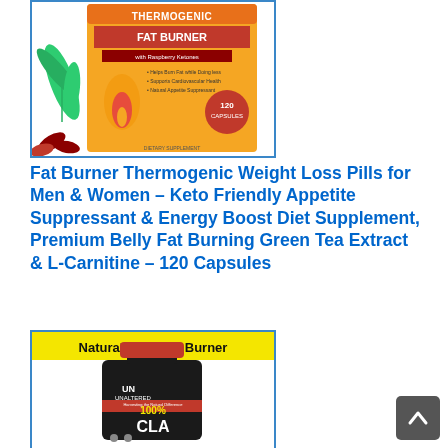[Figure (photo): Thermogenic Fat Burner supplement bottle with raspberry ketones, 120 capsules, orange and black label with green tea leaves and red capsules]
Fat Burner Thermogenic Weight Loss Pills for Men & Women – Keto Friendly Appetite Suppressant & Energy Boost Diet Supplement, Premium Belly Fat Burning Green Tea Extract & L-Carnitine – 120 Capsules
[Figure (photo): Natural Belly Fat Burner supplement bottle – UN Unaltered CLA 100% black bottle with red cap and yellow banner at top reading Natural Belly Fat Burner]